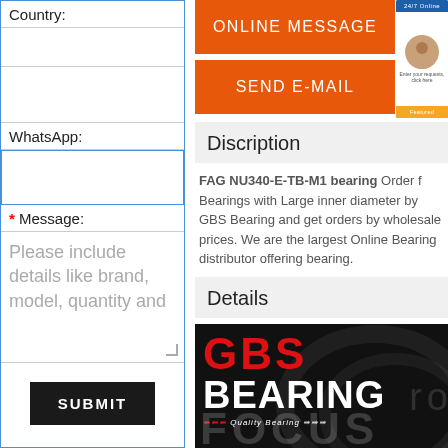Country:
WhatsApp:
* Message:
Please include details like brand, model, quantity and
SUBMIT
ONLINE MESSAGE
SEND E-MAIL
Discription
FAG NU340-E-TB-M1 bearing Order f Bearings with Large inner diameter by GBS Bearing and get orders by wholesale prices. We are the largest Online Bearing distributor offering bearing.
Details
[Figure (logo): GBS Bearing logo with red GBS text, white BEARING text, tagline 'Quality Bearing', and FOCUS text watermark on dark background]